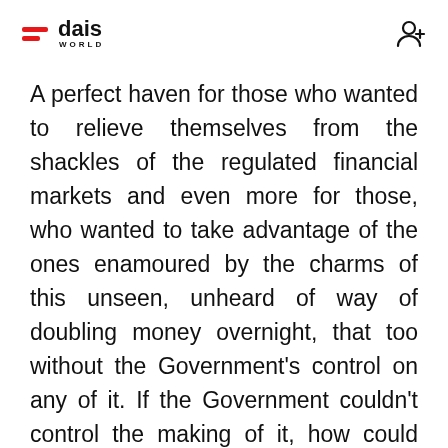dais WORLD
A perfect haven for those who wanted to relieve themselves from the shackles of the regulated financial markets and even more for those, who wanted to take advantage of the ones enamoured by the charms of this unseen, unheard of way of doubling money overnight, that too without the Government's control on any of it. If the Government couldn't control the making of it, how could they control the robbing of it – the Perfect Groundwork for the Perfect Crime.